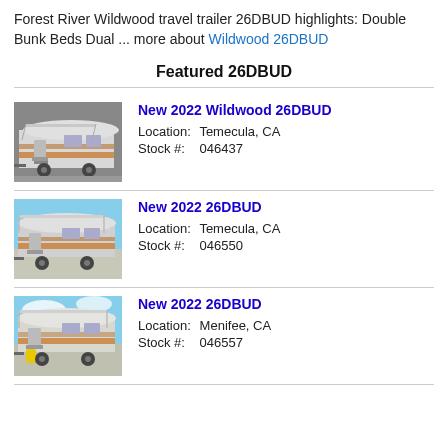Forest River Wildwood travel trailer 26DBUD highlights: Double Bunk Beds Dual ... more about Wildwood 26DBUD
Featured 26DBUD
[Figure (photo): Photo of a New 2022 Wildwood 26DBUD travel trailer, side exterior view]
New 2022 Wildwood 26DBUD
Location: Temecula, CA
Stock #: 046437
[Figure (photo): Photo of a New 2022 26DBUD travel trailer, side exterior view with awning extended]
New 2022 26DBUD
Location: Temecula, CA
Stock #: 046550
[Figure (photo): Photo of a New 2022 26DBUD travel trailer, side exterior view outdoors]
New 2022 26DBUD
Location: Menifee, CA
Stock #: 046557